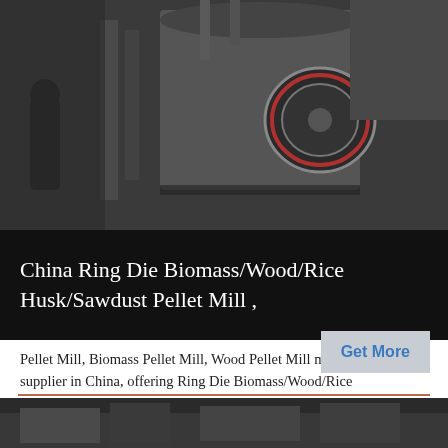[Figure (photo): Industrial pellet mill machinery in a factory setting, showing large cylindrical equipment. A person is visible on the left side.]
China Ring Die Biomass/Wood/Rice Husk/Sawdust Pellet Mill ,
Pellet Mill, Biomass Pellet Mill, Wood Pellet Mill manufacturer / supplier in China, offering Ring Die Biomass/Wood/Rice Husk/Sawdust Pellet Mill Manufacturers, Mzlv600 Ring Die Wood Pellet Fuel Making Machine, Sfsp Series Wood Chips Hammer Mill Crusher and so on
Get More
[Figure (photo): Partial view of industrial machinery, lower portion of a factory photo.]